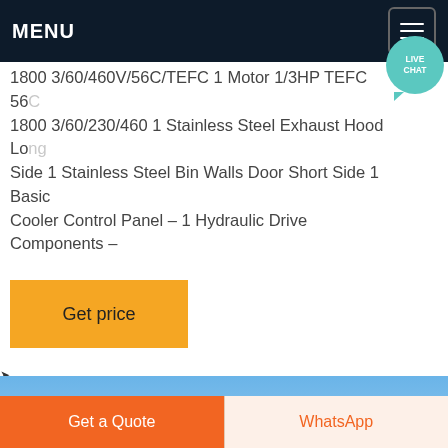MENU
1800 3/60/460V/56C/TEFC 1 Motor 1/3HP TEFC 56C 1800 3/60/230/460 1 Stainless Steel Exhaust Hood Long Side 1 Stainless Steel Bin Walls Door Short Side 1 Basic Cooler Control Panel – 1 Hydraulic Drive Components –
[Figure (screenshot): Yellow 'Get price' button]
[Figure (photo): Blue sky with clouds]
Get a Quote
WhatsApp